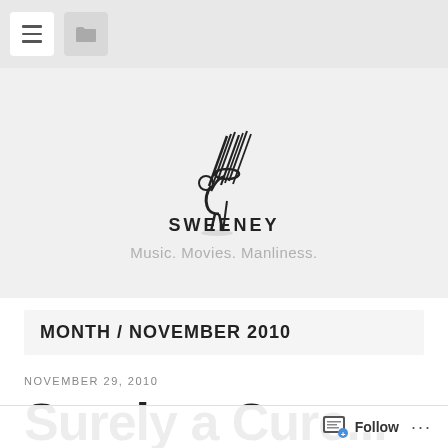Navigation bar with menu and folder icons
[Figure (logo): Sweeney blog logo: illustration of a hunched figure carrying a bundle of sticks/arrows on their back, with the word SWEENEY in stylized block letters below]
Music. Movies. Manliness.
MONTH / NOVEMBER 2010
NOVEMBER 29, 2010
Surely a Cure...
Follow ...